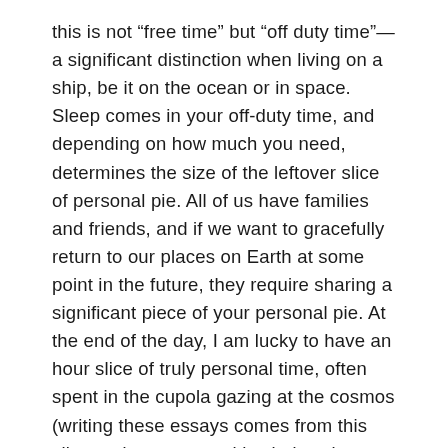this is not “free time” but “off duty time”—a significant distinction when living on a ship, be it on the ocean or in space. Sleep comes in your off-duty time, and depending on how much you need, determines the size of the leftover slice of personal pie. All of us have families and friends, and if we want to gracefully return to our places on Earth at some point in the future, they require sharing a significant piece of your personal pie. At the end of the day, I am lucky to have an hour slice of truly personal time, often spent in the cupola gazing at the cosmos (writing these essays comes from this slice and competes with window time, which accounts for some of the delays between postings).
Before the longest discussion of time again in the 40 h...